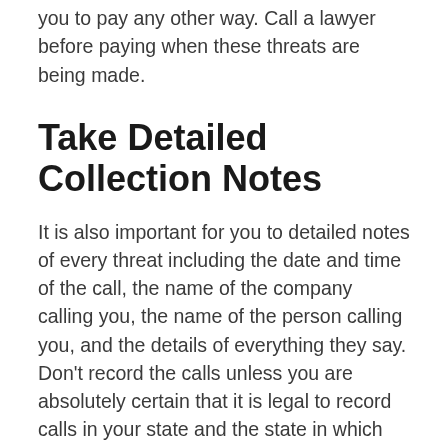you to pay any other way. Call a lawyer before paying when these threats are being made.
Take Detailed Collection Notes
It is also important for you to detailed notes of every threat including the date and time of the call, the name of the company calling you, the name of the person calling you, and the details of everything they say. Don’t record the calls unless you are absolutely certain that it is legal to record calls in your state and the state in which the caller is located. Some states prohibit recording calls without the consent of both parties and your detailed notes are sufficient proof in most cases.